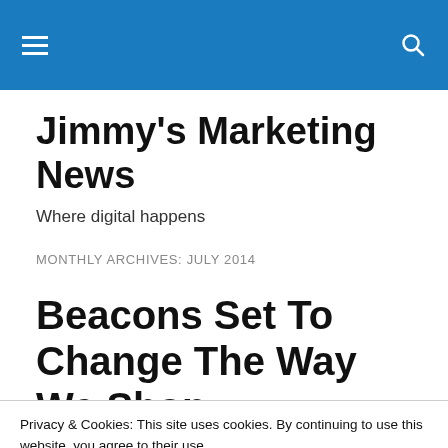Jimmy's Marketing News — site header bar with hamburger menu and search icon
Jimmy's Marketing News
Where digital happens
MONTHLY ARCHIVES: JULY 2014
Beacons Set To Change The Way We Shop
Privacy & Cookies: This site uses cookies. By continuing to use this website, you agree to their use. To find out more, including how to control cookies, see here: Cookie Policy